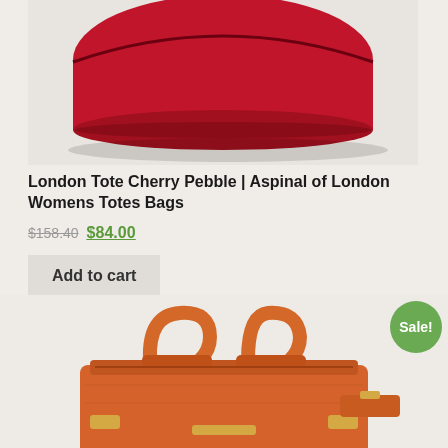[Figure (photo): Red cherry pebble leather tote bag from Aspinal of London, showing the bottom and side of the bag against a light background]
London Tote Cherry Pebble | Aspinal of London Womens Totes Bags
$158.40 $84.00
Add to cart
[Figure (photo): Orange pebble leather structured tote bag from Aspinal of London with gold hardware and top handles, shown from front angle. Sale badge visible in top right corner.]